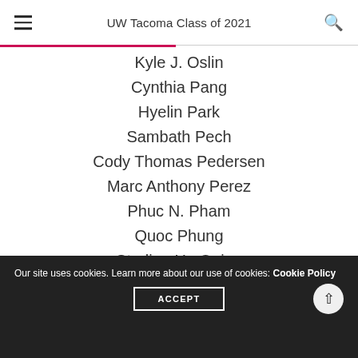UW Tacoma Class of 2021
Kyle J. Oslin
Cynthia Pang
Hyelin Park
Sambath Pech
Cody Thomas Pedersen
Marc Anthony Perez
Phuc N. Pham
Quoc Phung
Sterling Ho Quinn
John Joseph Reiten
Our site uses cookies. Learn more about our use of cookies: Cookie Policy